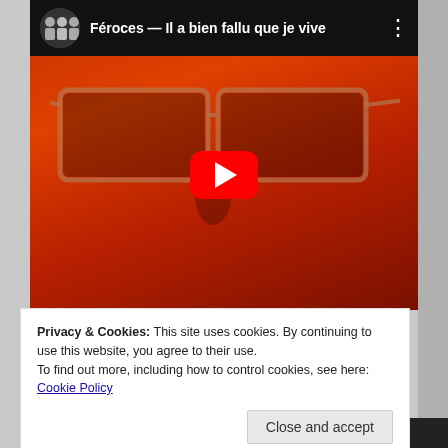[Figure (screenshot): YouTube video thumbnail showing a person with orange-tinted face and aviator sunglasses. Title bar reads 'Féroces — Il a bien fallu que je vive'. Red play button in center.]
Privacy & Cookies: This site uses cookies. By continuing to use this website, you agree to their use.
To find out more, including how to control cookies, see here:
Cookie Policy
Close and accept
"Nobody Sings, Nobody Dances" in the French